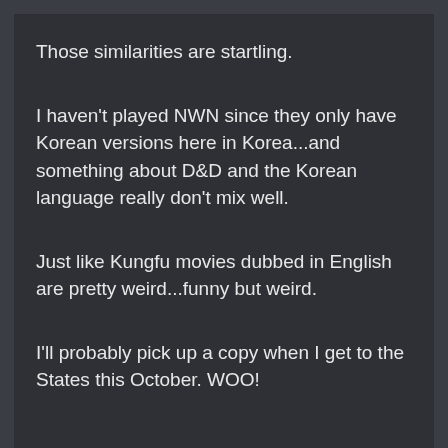Those similarities are startling.
I haven't played NWN since they only have Korean versions here in Korea...and something about D&D and the Korean language really don't mix well.
Just like Kungfu movies dubbed in English are pretty weird...funny but weird.
I'll probably pick up a copy when I get to the States this October. WOO!